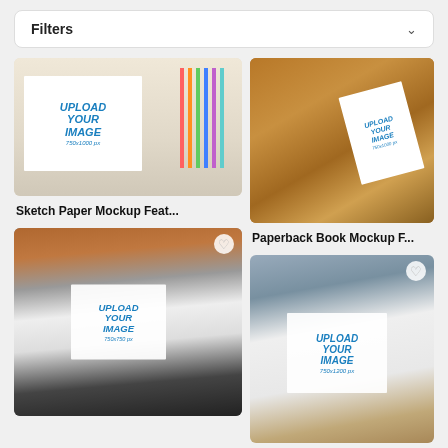Filters
[Figure (photo): Sketch paper mockup with colored pencils and hands, showing UPLOAD YOUR IMAGE 750x1000 px placeholder]
Sketch Paper Mockup Feat...
[Figure (photo): Paperback book mockup with woman in orange sweater lying on floor, showing UPLOAD YOUR IMAGE placeholder]
Paperback Book Mockup F...
[Figure (photo): Hoodie and jacket mockup with woman holding coffee cup near brick wall, showing UPLOAD YOUR IMAGE 750x750 px placeholder]
[Figure (photo): T-shirt mockup with woman holding coffee cup on street, showing UPLOAD YOUR IMAGE 750x1200 px placeholder]